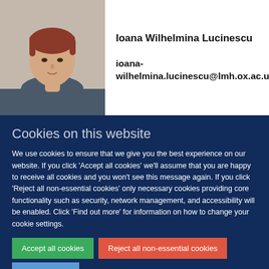[Figure (photo): Headshot photo of Ioana Wilhelmina Lucinescu, a young woman with short reddish-brown hair against a neutral grey background]
Ioana Wilhelmina Lucinescu
ioana-wilhelmina.lucinescu@lmh.ox.ac.uk
Cookies on this website
We use cookies to ensure that we give you the best experience on our website. If you click 'Accept all cookies' we'll assume that you are happy to receive all cookies and you won't see this message again. If you click 'Reject all non-essential cookies' only necessary cookies providing core functionality such as security, network management, and accessibility will be enabled. Click 'Find out more' for information on how to change your cookie settings.
Accept all cookies
Reject all non-essential cookies
Find out more